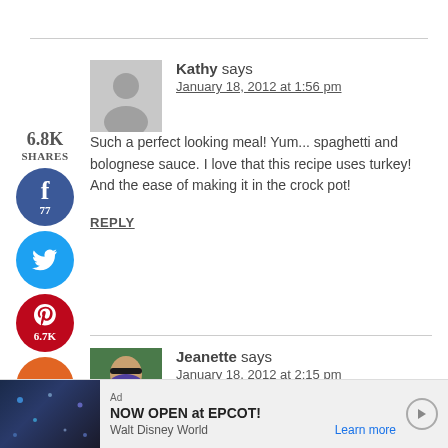6.8K SHARES
Kathy says
January 18, 2012 at 1:56 pm
Such a perfect looking meal! Yum... spaghetti and bolognese sauce. I love that this recipe uses turkey! And the ease of making it in the crock pot!
REPLY
Jeanette says
January 18, 2012 at 2:15 pm
It's definitely comfort food and one of the kids favorites. I've been using my crockpot a
Ad NOW OPEN at EPCOT! Walt Disney World Learn more